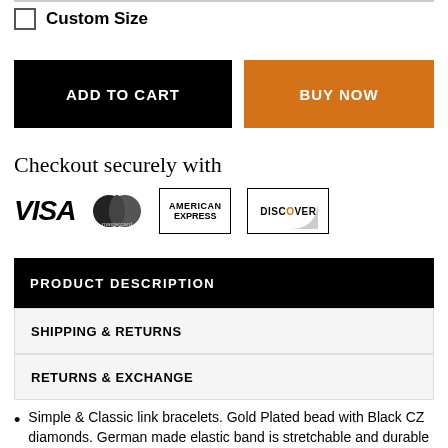Custom Size
ADD TO CART
BUY NOW
Checkout securely with
[Figure (logo): Payment method logos: VISA, Mastercard, American Express, Discover]
PRODUCT DESCRIPTION
SHIPPING & RETURNS
RETURNS & EXCHANGE
Simple & Classic link bracelets. Gold Plated bead with Black CZ diamonds. German made elastic band is stretchable and durable
Bead Size: 8mm in gloss finish